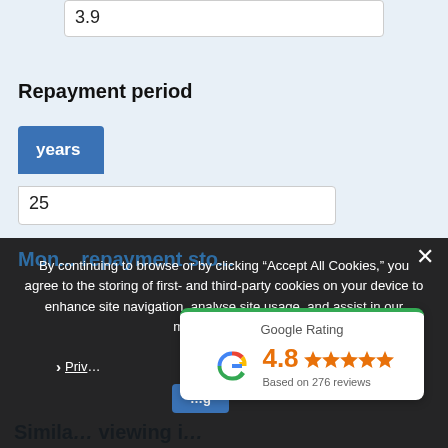3.9
Repayment period
years
25
By continuing to browse or by clicking “Accept All Cookies,” you agree to the storing of first- and third-party cookies on your device to enhance site navigation, analyse site usage, and assist in our marketing efforts.
×
❯ Priv…
[Figure (logo): Google Rating widget showing 4.8 stars based on 276 reviews with Google G logo and green top border]
Mon… repayment sto…
Simila… viewing i…